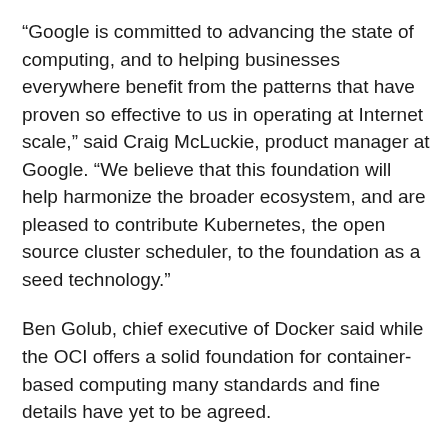“Google is committed to advancing the state of computing, and to helping businesses everywhere benefit from the patterns that have proven so effective to us in operating at Internet scale,” said Craig McLuckie, product manager at Google. “We believe that this foundation will help harmonize the broader ecosystem, and are pleased to contribute Kubernetes, the open source cluster scheduler, to the foundation as a seed technology.”
Ben Golub, chief executive of Docker said while the OCI offers a solid foundation for container-based computing many standards and fine details have yet to be agreed.
“At the orchestration layer of the stack, there are many competing solutions and the standard has yet to be defined. Through our participation in the Cloud Native Computing Foundation, we are pleased to be part of a collaborative effort that will establish interoperable reference stacks for container